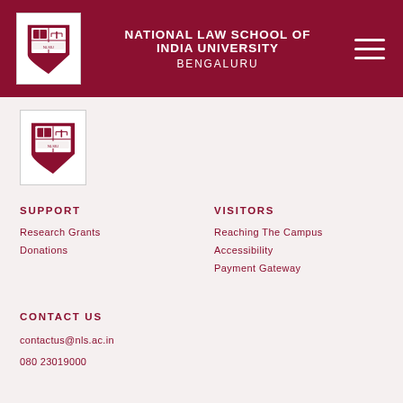NATIONAL LAW SCHOOL OF INDIA UNIVERSITY BENGALURU
[Figure (logo): National Law School of India University crest/shield logo in body]
SUPPORT
Research Grants
Donations
VISITORS
Reaching The Campus
Accessibility
Payment Gateway
CONTACT US
contactus@nls.ac.in
080 23019000